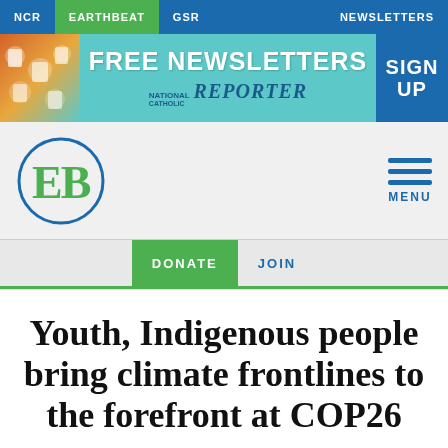NCR  EARTHBEAT  GSR  NEWSLETTERS
[Figure (infographic): Banner ad: FREE NEWSLETTERS SIGN UP — National Catholic Reporter, with colorful icons on the left and a blue sign up button on the right, teal background]
[Figure (logo): EarthBeat logo — green letters EB inside a blue circle]
[Figure (infographic): Hamburger menu icon with three horizontal blue lines and MENU text below]
DONATE  JOIN
Youth, Indigenous people bring climate frontlines to the forefront at COP26